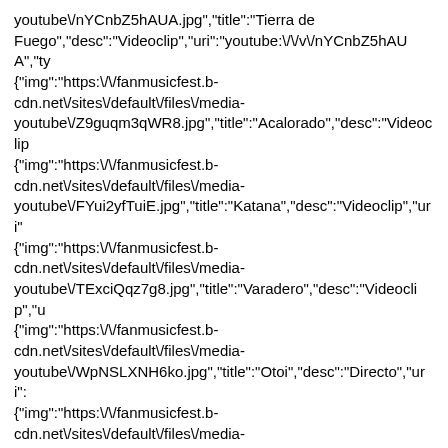youtube\/nYCnbZ5hAUA.jpg","title":"Tierra de Fuego","desc":"Videoclip","uri":"youtube:\/\/v\/nYCnbZ5hAUA","ty {"img":"https:\/\/fanmusicfest.b-cdn.net\/sites\/default\/files\/media-youtube\/Z9guqm3qWR8.jpg","title":"Acalorado","desc":"Videoclip {"img":"https:\/\/fanmusicfest.b-cdn.net\/sites\/default\/files\/media-youtube\/FYui2yfTuiE.jpg","title":"Katana","desc":"Videoclip","uri" {"img":"https:\/\/fanmusicfest.b-cdn.net\/sites\/default\/files\/media-youtube\/TExciQqz7g8.jpg","title":"Varadero","desc":"Videoclip","u {"img":"https:\/\/fanmusicfest.b-cdn.net\/sites\/default\/files\/media-youtube\/WpNSLXNH6ko.jpg","title":"Otoi","desc":"Directo","uri": {"img":"https:\/\/fanmusicfest.b-cdn.net\/sites\/default\/files\/media-youtube\/f3J8gQs_oWg.jpg","title":"Oiloarena","desc":"Directo","ur {"img":"https:\/\/fanmusicfest.b-cdn.net\/sites\/default\/files\/media-youtube\/5eoTP5UOOk4.jpg","title":"Dolor","desc":"Videoclip","uri {"img":"https:\/\/fanmusicfest.b-cdn.net\/sites\/default\/files\/media-youtube\/Fj5WIeO_i_8.jpg","title":"Morri\u00f1a","desc":"Videoclip {"img":"https:\/\/fanmusicfest.b-cdn.net\/sites\/default\/files\/media-